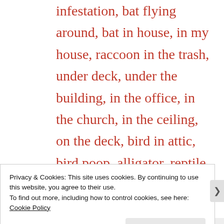infestation, bat flying around, bat in house, in my house, raccoon in the trash, under deck, under the building, in the office, in the church, in the ceiling, on the deck, bird in attic, bird poop, alligator, reptile, lizard, mole, gopher, mole control, gopher traping, ground squirrel, mouse trap, goose, duck, venomous snake, non venomous
Privacy & Cookies: This site uses cookies. By continuing to use this website, you agree to their use.
To find out more, including how to control cookies, see here: Cookie Policy